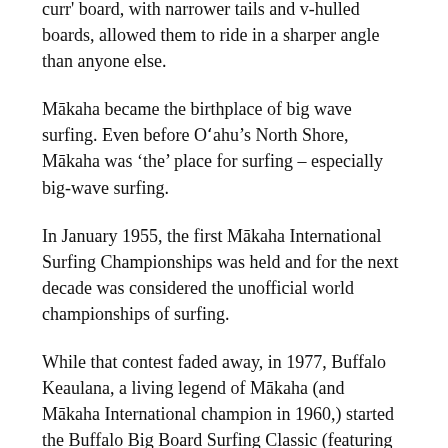curr' board, with narrower tails and v-hulled boards, allowed them to ride in a sharper angle than anyone else.
Mākaha became the birthplace of big wave surfing. Even before O'ahu's North Shore, Mākaha was 'the' place for surfing – especially big-wave surfing.
In January 1955, the first Mākaha International Surfing Championships was held and for the next decade was considered the unofficial world championships of surfing.
While that contest faded away, in 1977, Buffalo Keaulana, a living legend of Mākaha (and Mākaha International champion in 1960,) started the Buffalo Big Board Surfing Classic (featuring